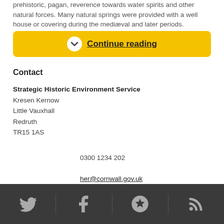prehistoric, pagan, reverence towards water spirits and other natural forces. Many natural springs were provided with a well house or covering during the mediæval and later periods.
Continue reading
Contact
Strategic Historic Environment Service
Kresen Kernow
Little Vauxhall
Redruth
TR15 1AS
0300 1234 202
her@cornwall.gov.uk
Twitter | Facebook | Vimeo | RSS